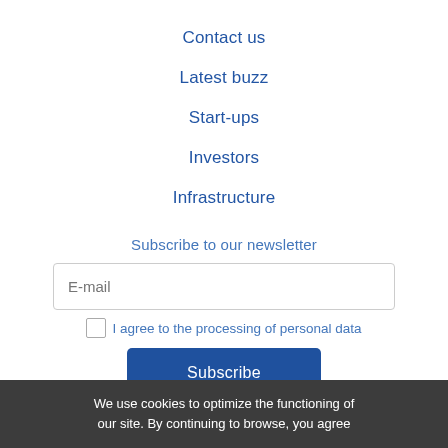Contact us
Latest buzz
Start-ups
Investors
Infrastructure
Subscribe to our newsletter
E-mail
I agree to the processing of personal data
Subscribe
We use cookies to optimize the functioning of our site. By continuing to browse, you agree